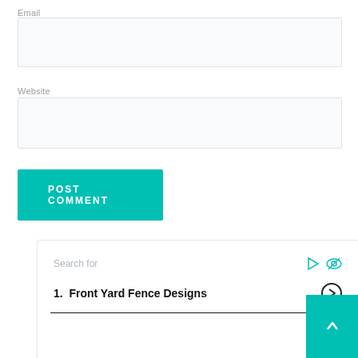Email
[Figure (other): Empty email input field with light blue-grey background and thin border]
Website
[Figure (other): Empty website input field with light blue-grey background and thin border]
[Figure (other): POST COMMENT button in teal/turquoise color with white uppercase text]
[Figure (other): Widget box with search field placeholder text 'Search for', teal play and eye icons, numbered list item '1. Front Yard Fence Designs' with circle arrow button, and a horizontal divider line. A teal scroll-to-top button with up arrow is in the bottom right corner.]